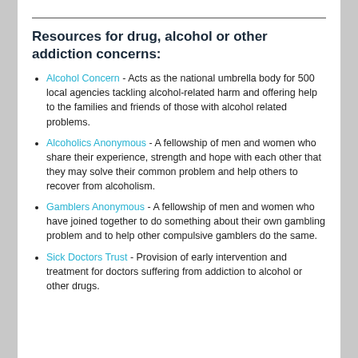Resources for drug, alcohol or other addiction concerns:
Alcohol Concern - Acts as the national umbrella body for 500 local agencies tackling alcohol-related harm and offering help to the families and friends of those with alcohol related problems.
Alcoholics Anonymous - A fellowship of men and women who share their experience, strength and hope with each other that they may solve their common problem and help others to recover from alcoholism.
Gamblers Anonymous - A fellowship of men and women who have joined together to do something about their own gambling problem and to help other compulsive gamblers do the same.
Sick Doctors Trust - Provision of early intervention and treatment for doctors suffering from addiction to alcohol or other drugs.